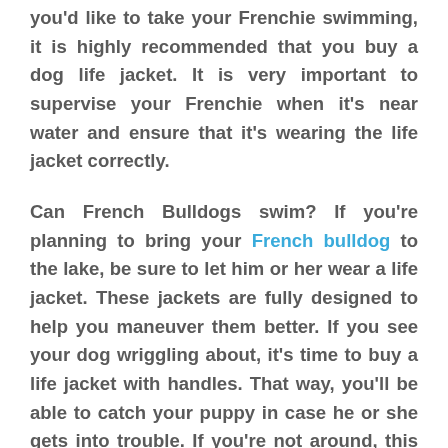you'd like to take your Frenchie swimming, it is highly recommended that you buy a dog life jacket. It is very important to supervise your Frenchie when it's near water and ensure that it's wearing the life jacket correctly.
Can French Bulldogs swim? If you're planning to bring your French bulldog to the lake, be sure to let him or her wear a life jacket. These jackets are fully designed to help you maneuver them better. If you see your dog wriggling about, it's time to buy a life jacket with handles. That way, you'll be able to catch your puppy in case he or she gets into trouble. If you're not around, this can be a fatal mistake.